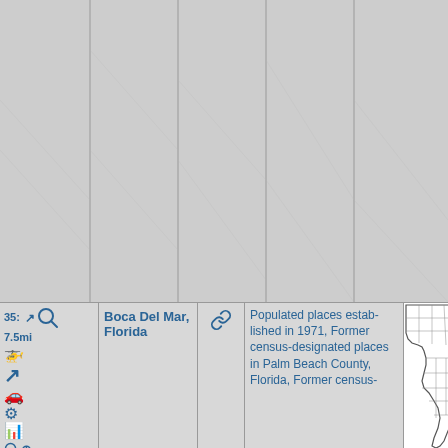[Figure (map): Large grey map area with vertical grid lines, top portion of the page]
| Icons/Distance | Place Name | Link | Categories | Mini Map |
| --- | --- | --- | --- | --- |
| 35: ↗ 🔍 7.5mi 🚁 ↗ 🚗 🌀 📊 🔍⊕ 🔗 | Boca Del Mar, Florida | 🔗 | Populated places established in 1971, Former census-designated places in Palm Beach County, Florida, Former census-designated... | [Map of Florida] |